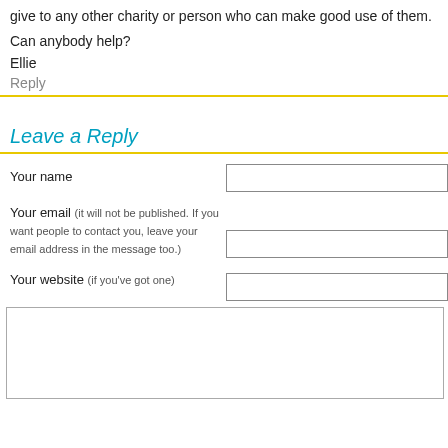give to any other charity or person who can make good use of them.
Can anybody help?
Ellie
Reply
Leave a Reply
Your name
Your email (it will not be published. If you want people to contact you, leave your email address in the message too.)
Your website (if you've got one)